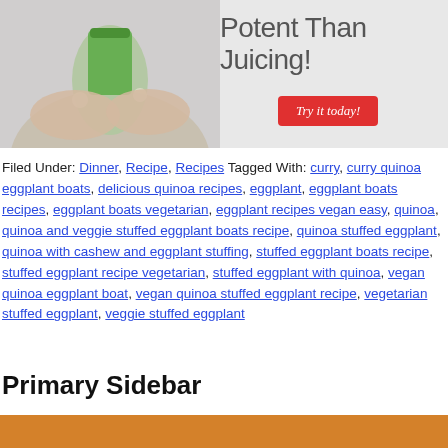[Figure (photo): Banner image showing hands holding a green juice/smoothie cup, with text 'Potent Than Juicing!' and a red 'Try it today!' button on a light grey background.]
Filed Under: Dinner, Recipe, Recipes Tagged With: curry, curry quinoa eggplant boats, delicious quinoa recipes, eggplant, eggplant boats recipes, eggplant boats vegetarian, eggplant recipes vegan easy, quinoa, quinoa and veggie stuffed eggplant boats recipe, quinoa stuffed eggplant, quinoa with cashew and eggplant stuffing, stuffed eggplant boats recipe, stuffed eggplant recipe vegetarian, stuffed eggplant with quinoa, vegan quinoa eggplant boat, vegan quinoa stuffed eggplant recipe, vegetarian stuffed eggplant, veggie stuffed eggplant
Primary Sidebar
[Figure (photo): Bottom orange banner with a light-colored bowl/cup image starting to appear at the bottom of the page.]